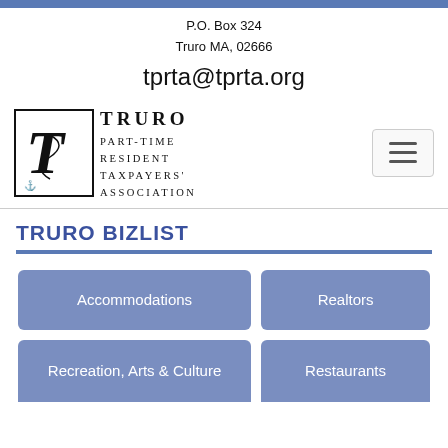P.O. Box 324
Truro MA, 02666
tprta@tprta.org
[Figure (logo): Truro Part-Time Resident Taxpayers Association logo with large T and anchor]
TRURO BIZLIST
Accommodations
Realtors
Recreation, Arts & Culture
Restaurants